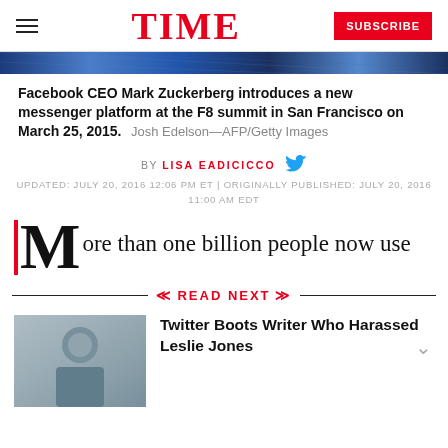TIME — SUBSCRIBE
[Figure (photo): Hero image strip — blue textured banner photo (partial, cropped top)]
Facebook CEO Mark Zuckerberg introduces a new messenger platform at the F8 summit in San Francisco on March 25, 2015.  Josh Edelson—AFP/Getty Images
BY LISA EADICICCO
UPDATED: JULY 20, 2016 12:06 PM ET | ORIGINALLY PUBLISHED: JULY 20, 2016 11:00 AM EDT
More than one billion people now use
READ NEXT
[Figure (photo): Thumbnail photo of a man in sunglasses and suit]
Twitter Boots Writer Who Harassed Leslie Jones